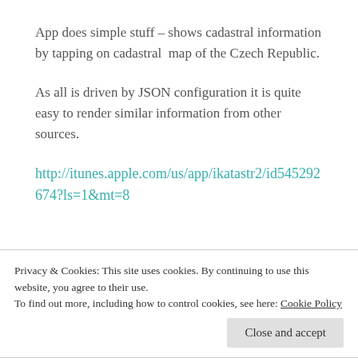App does simple stuff – shows cadastral information by tapping on cadastral map of the Czech Republic.
As all is driven by JSON configuration it is quite easy to render similar information from other sources.
http://itunes.apple.com/us/app/ikatastr2/id54529267 4?ls=1&mt=8
Privacy & Cookies: This site uses cookies. By continuing to use this website, you agree to their use.
To find out more, including how to control cookies, see here: Cookie Policy
Close and accept